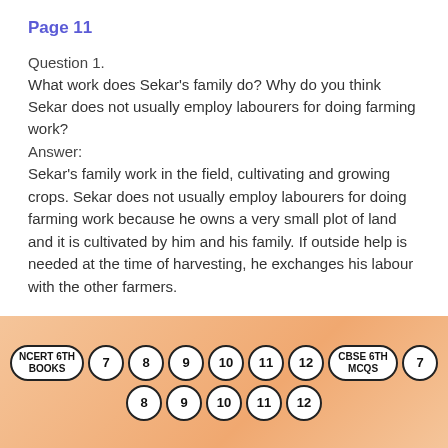Page 11
Question 1.
What work does Sekar's family do? Why do you think Sekar does not usually employ labourers for doing farming work?
Answer:
Sekar's family work in the field, cultivating and growing crops. Sekar does not usually employ labourers for doing farming work because he owns a very small plot of land and it is cultivated by him and his family. If outside help is needed at the time of harvesting, he exchanges his labour with the other farmers.
[Figure (infographic): Navigation bar with oval/pill buttons: NCERT 6TH BOOKS, 7, 8, 9, 10, 11, 12, CBSE 6TH MCQS, 7 in top row; 8, 9, 10, 11, 12 in bottom row. Peach/orange gradient background.]